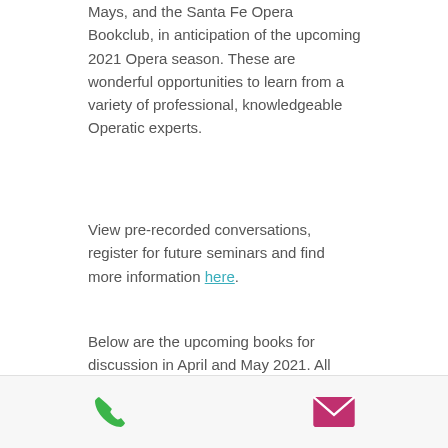Mays, and the Santa Fe Opera Bookclub, in anticipation of the upcoming 2021 Opera season. These are wonderful opportunities to learn from a variety of professional, knowledgeable Operatic experts.
View pre-recorded conversations, register for future seminars and find more information here.
Below are the upcoming books for discussion in April and May 2021. All books are available to purchase online, or call us at (505) 988-4226!
[Figure (infographic): Footer bar with phone icon (green) and email/envelope icon (magenta/pink) side by side]